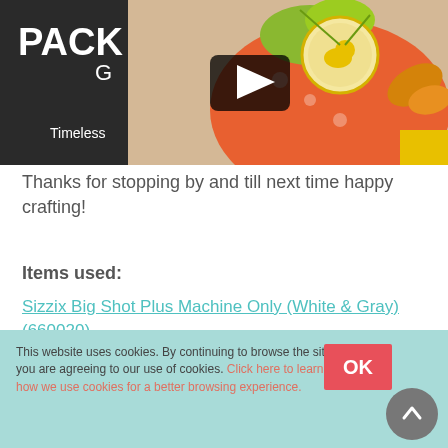[Figure (screenshot): Video thumbnail showing a crafting project - a decorative gift bag made with floral fabric and a bird embellishment, with a play button overlay. Left side shows dark packaging with 'PACKA', 'Timeless', 'G' text visible.]
Thanks for stopping by and till next time happy crafting!
Items used:
Sizzix Big Shot Plus Machine Only (White & Gray) (660020)
Sizzix Thinlits Plus Die Set 6PK - Timeless Love Gift
This website uses cookies. By continuing to browse the site you are agreeing to our use of cookies. Click here to learn how we use cookies for a better browsing experience.